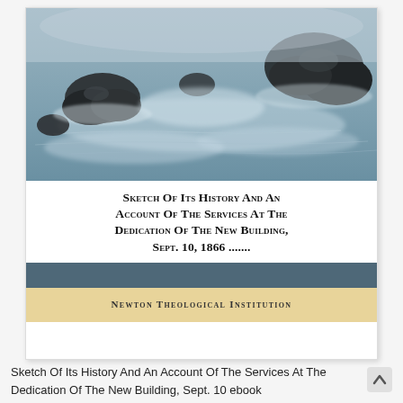[Figure (photo): Ocean scene with dark rocks partially submerged in calm misty water, long-exposure photography style with soft blue-grey tones]
Sketch Of Its History And An Account Of The Services At The Dedication Of The New Building, Sept. 10, 1866 .......
Newton Theological Institution
Sketch Of Its History And An Account Of The Services At The Dedication Of The New Building, Sept. 10 ebook
This is a reproduction of a book published before 1923. Th...